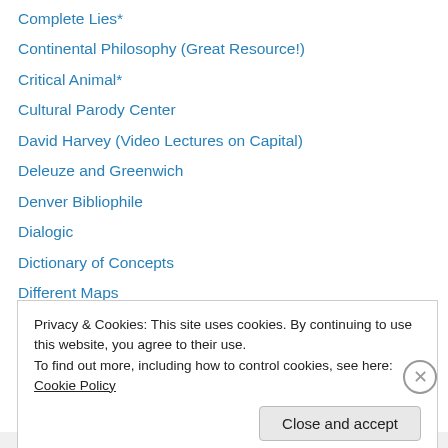Complete Lies*
Continental Philosophy (Great Resource!)
Critical Animal*
Cultural Parody Center
David Harvey (Video Lectures on Capital)
Deleuze and Greenwich
Denver Bibliophile
Dialogic
Dictionary of Concepts
Different Maps
Digging a Well By Hand
Discourse
Doing Justice
Privacy & Cookies: This site uses cookies. By continuing to use this website, you agree to their use. To find out more, including how to control cookies, see here: Cookie Policy
Close and accept